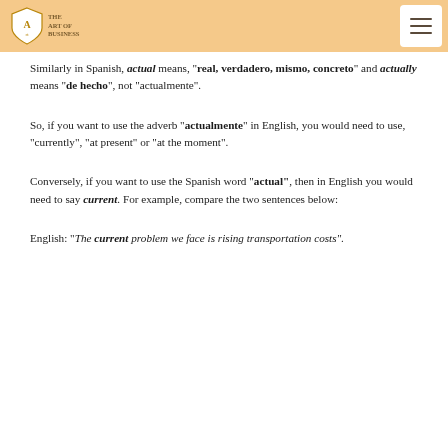The Art of Business (logo) / menu button
Similarly in Spanish, actual means, "real, verdadero, mismo, concreto" and actually means "de hecho", not "actualmente".
So, if you want to use the adverb "actualmente" in English, you would need to use, "currently", "at present" or "at the moment".
Conversely, if you want to use the Spanish word "actual", then in English you would need to say current. For example, compare the two sentences below:
English: "The current problem we face is rising transportation costs".